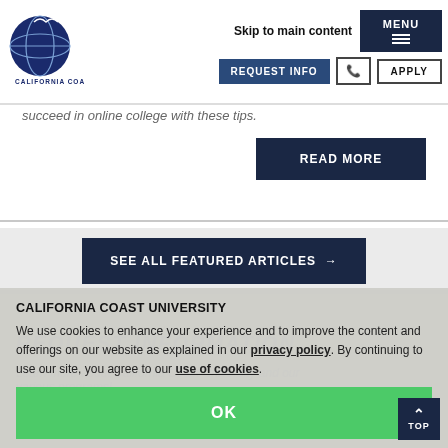[Figure (logo): California Coast University globe logo with text 'CALIFORNIA COAST UNIVERSITY']
Skip to main content
MENU
REQUEST INFO
APPLY
succeed in online college with these tips.
READ MORE
SEE ALL FEATURED ARTICLES →
CALIFORNIA COAST UNIVERSITY
We use cookies to enhance your experience and to improve the content and offerings on our website as explained in our privacy policy. By continuing to use our site, you agree to our use of cookies.
REQUEST INFORMATION
Learn more about California Coast University and our various programs!
OK